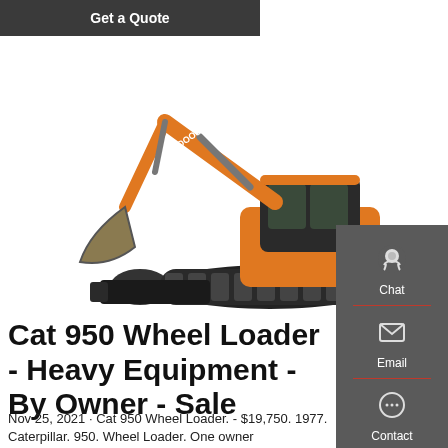[Figure (screenshot): Dark gray button with text 'Get a Quote' at top left of page]
[Figure (photo): Orange Doosan tracked excavator with bucket on a white background]
[Figure (screenshot): Dark sidebar panel on right side with Chat (headset icon), Email (envelope icon), and Contact (speech bubble icon) options separated by red dividers]
Cat 950 Wheel Loader - Heavy Equipment - By Owner - Sale
Nov 25, 2021 · Cat 950 Wheel Loader. - $19,750. 1977. Caterpillar. 950. Wheel Loader. One owner